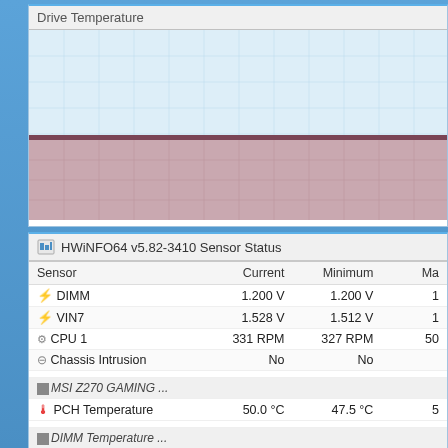[Figure (screenshot): Drive Temperature chart window showing two colored grid areas: upper light blue grid and lower mauve/pink grid, partially visible]
| Sensor | Current | Minimum | Ma... |
| --- | --- | --- | --- |
| ⚡ DIMM | 1.200 V | 1.200 V | 1... |
| ⚡ VIN7 | 1.528 V | 1.512 V | 1... |
| ⚙ CPU 1 | 331 RPM | 327 RPM | 50... |
| ⊖ Chassis Intrusion | No | No |  |
| [group] MSI Z270 GAMING ... |  |  |  |
| 🌡 PCH Temperature | 50.0 °C | 47.5 °C | 5... |
| [group] DIMM Temperature ... |  |  |  |
| 🌡 DIMM[0] Temperature | 33.8 °C | 32.8 °C | 3... |
| 🌡 DIMM[2] Temperature | 34.0 °C | 33.3 °C | 3... |